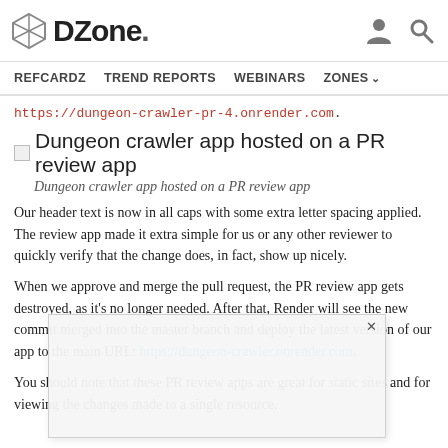DZone. [navigation: REFCARDZ, TREND REPORTS, WEBINARS, ZONES]
https://dungeon-crawler-pr-4.onrender.com .
[Figure (photo): Broken image placeholder with alt text: Dungeon crawler app hosted on a PR review app]
Dungeon crawler app hosted on a PR review app
Our header text is now in all caps with some extra letter spacing applied. The review app made it extra simple for us or any other reviewer to quickly verify that the change does, in fact, show up nicely.
When we approve and merge the pull request, the PR review app gets destroyed, as it’s no longer needed. After that, Render will see the new commit merged into the master branch and deploy the latest version of our app to the main URL: https://dungeon-crawler.onrender.com .
You should note that these PR review apps are great for static sites and for viewing the changes made to a single resource.